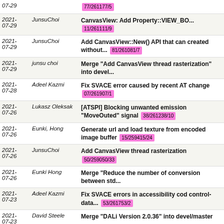| Date | Author | Message |
| --- | --- | --- |
| 2021-07-29 |  | 77/261177/5 |
| 2021-07-29 | JunsuChoi | CanvasView: Add Property::VIEW_BO... 11/261111/9 |
| 2021-07-29 | JunsuChoi | Add CanvasView::New() API that can created without... 81/261081/7 |
| 2021-07-29 | junsu choi | Merge "Add CanvasView thread rasterization" into devel... |
| 2021-07-28 | Adeel Kazmi | Fix SVACE error caused by recent AT change 07/261907/1 |
| 2021-07-26 | Lukasz Oleksak | [ATSPI] Blocking unwanted emission "MoveOuted" signal 38/261238/10 |
| 2021-07-26 | Eunki, Hong | Generate url and load texture from encoded image buffer 15/259415/24 |
| 2021-07-26 | JunsuChoi | Add CanvasView thread rasterization 50/259050/33 |
| 2021-07-26 | Eunki Hong | Merge "Reduce the number of conversion between std... |
| 2021-07-23 | Adeel Kazmi | Fix SVACE errors in accessibility cod control-data... 53/261753/2 |
| 2021-07-23 | David Steele | Merge "DALi Version 2.0.36" into devel/master |